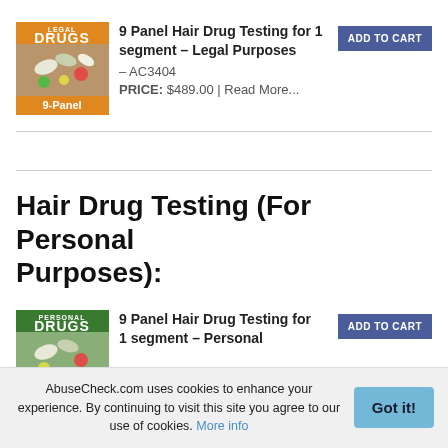[Figure (illustration): Book cover image with orange/gold top banner reading 'LEGAL', large text 'DRUGS', image of pills/capsules, and '9-Panel' label at bottom]
9 Panel Hair Drug Testing for 1 segment – Legal Purposes – AC3404
PRICE: $489.00 | Read More...
ADD TO CART
Hair Drug Testing (For Personal Purposes):
[Figure (illustration): Book cover image with green top banner reading 'PERSONAL', large text 'DRUGS', image of pills/capsules]
9 Panel Hair Drug Testing for 1 segment – Personal
ADD TO CART
AbuseCheck.com uses cookies to enhance your experience. By continuing to visit this site you agree to our use of cookies. More info
Got it!